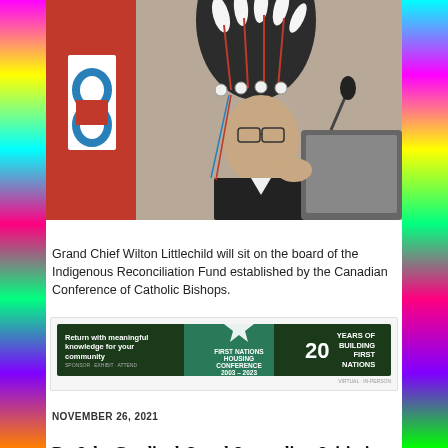[Figure (photo): Grand Chief Wilton Littlechild wearing a traditional First Nations headdress, speaking at a podium with a microphone. A red banner with a blue infinity symbol is visible on the left.]
Grand Chief Wilton Littlechild will sit on the board of the Indigenous Reconciliation Fund established by the Canadian Conference of Catholic Bishops.
[Figure (other): Advertisement banner for First Nations Housing Conference: 'Return with meaningful knowledge for your community. Oct 25-27. Thunder Bay. FirstNationsHousingConference.com. Virtual - In Person. 20 Years of Building First Nations.']
NOVEMBER 26, 2021
By Jake Cardinal, Local Journalism Initiative